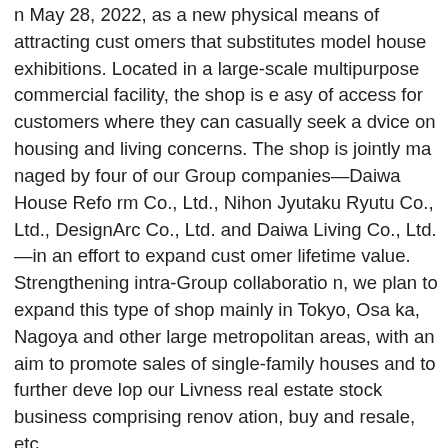n May 28, 2022, as a new physical means of attracting customers that substitutes model house exhibitions. Located in a large-scale multipurpose commercial facility, the shop is easy of access for customers where they can casually seek advice on housing and living concerns. The shop is jointly managed by four of our Group companies—Daiwa House Reform Co., Ltd., Nihon Jyutaku Ryutu Co., Ltd., DesignArc Co., Ltd. and Daiwa Living Co., Ltd.—in an effort to expand customer lifetime value. Strengthening intra-Group collaboration, we plan to expand this type of shop mainly in Tokyo, Osaka, Nagoya and other large metropolitan areas, with an aim to promote sales of single-family houses and to further develop our Livness real estate stock business comprising renovation, buy and resale, etc.
Overseas, in the United States, we continued to pursue expansion of the housing business in the "smile zone" which connects the 11 states in the eastern, southern and western parts of the country, and the business with an eye on the mid to long term.